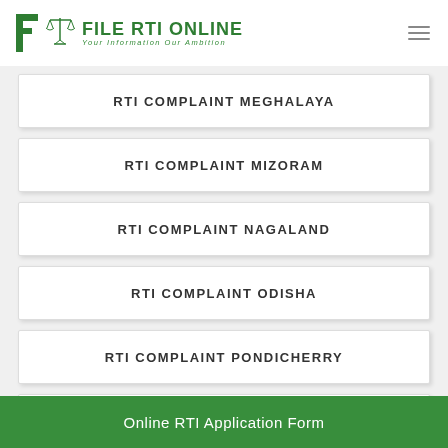[Figure (logo): File RTI Online logo with scales of justice icon, green color, tagline: Your Information Our Ambition]
RTI COMPLAINT MEGHALAYA
RTI COMPLAINT MIZORAM
RTI COMPLAINT NAGALAND
RTI COMPLAINT ODISHA
RTI COMPLAINT PONDICHERRY
RTI COMPLAINT PUNJAB
RTI COMPLAINT RAJASTHAN
Online RTI Application Form